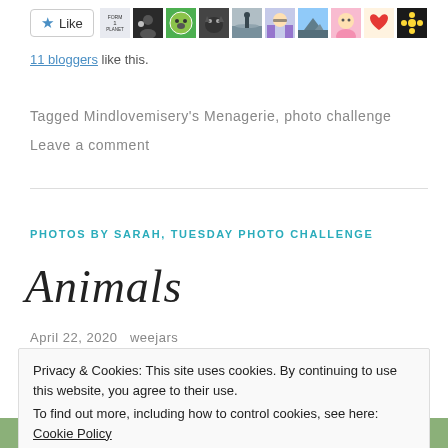[Figure (other): Like button with star icon followed by a strip of 11 blogger avatar thumbnails]
11 bloggers like this.
Tagged Mindlovemisery's Menagerie, photo challenge
Leave a comment
PHOTOS BY SARAH, TUESDAY PHOTO CHALLENGE
Animals
April 22, 2020   weejars
Privacy & Cookies: This site uses cookies. By continuing to use this website, you agree to their use.
To find out more, including how to control cookies, see here: Cookie Policy
Close and accept